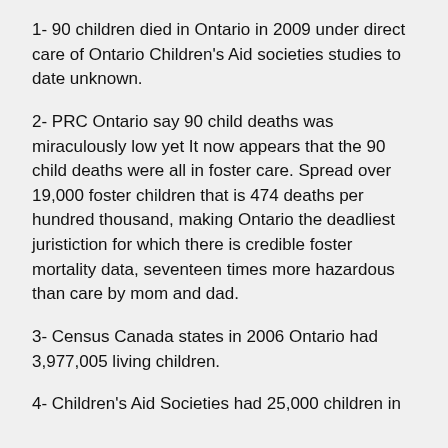1- 90 children died in Ontario in 2009 under direct care of Ontario Children's Aid societies studies to date unknown.
2- PRC Ontario say 90 child deaths was miraculously low yet It now appears that the 90 child deaths were all in foster care. Spread over 19,000 foster children that is 474 deaths per hundred thousand, making Ontario the deadliest juristiction for which there is credible foster mortality data, seventeen times more hazardous than care by mom and dad.
3- Census Canada states in 2006 Ontario had 3,977,005 living children.
4- Children's Aid Societies had 25,000 children in